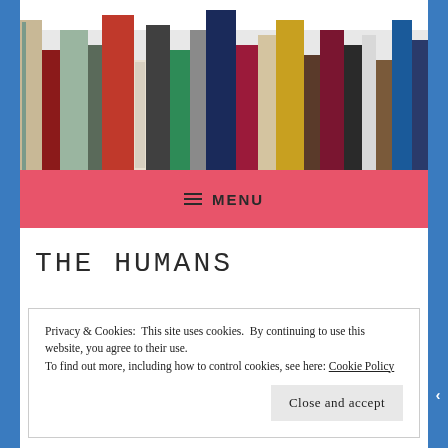[Figure (illustration): A row of colorful books standing upright on a shelf, viewed from the side, showing spines of various colors including red, teal, beige, dark green, gold, maroon, dark navy, blue, and white.]
≡ MENU
THE HUMANS
Privacy & Cookies: This site uses cookies. By continuing to use this website, you agree to their use.
To find out more, including how to control cookies, see here: Cookie Policy
Close and accept